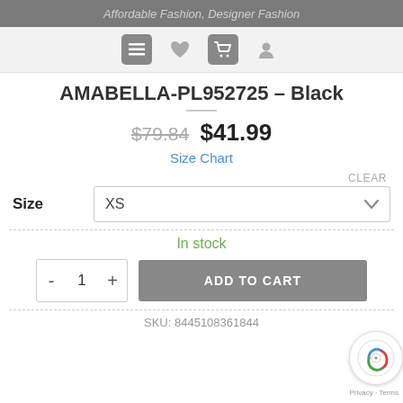Affordable Fashion, Designer Fashion
AMABELLA-PL952725 – Black
$79.84  $41.99
Size Chart
CLEAR
Size  XS
In stock
- 1 +  ADD TO CART
SKU: 8445108361844